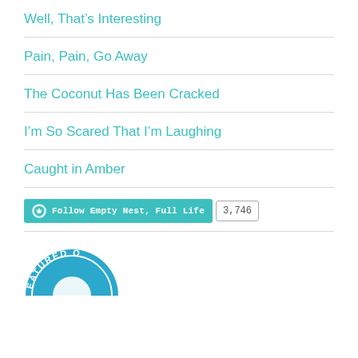Well, That's Interesting
Pain, Pain, Go Away
The Coconut Has Been Cracked
I'm So Scared That I'm Laughing
Caught in Amber
[Figure (other): WordPress Follow button for 'Empty Nest, Full Life' with follower count 3,746]
[Figure (logo): Featured On badge - circular teal badge partially visible at bottom of page]